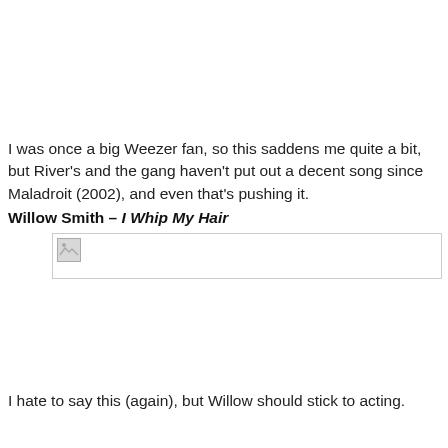I was once a big Weezer fan, so this saddens me quite a bit, but River's and the gang haven't put out a decent song since Maladroit (2002), and even that's pushing it.
Willow Smith – I Whip My Hair
[Figure (other): Broken image placeholder (missing image for Willow Smith - I Whip My Hair)]
I hate to say this (again), but Willow should stick to acting.